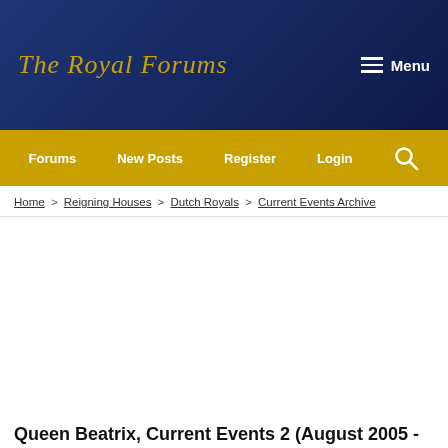The Royal Forums
Forums | New Posts | Register | Login
Home > Reigning Houses > Dutch Royals > Current Events Archive
Queen Beatrix, Current Events 2 (August 2005 - June